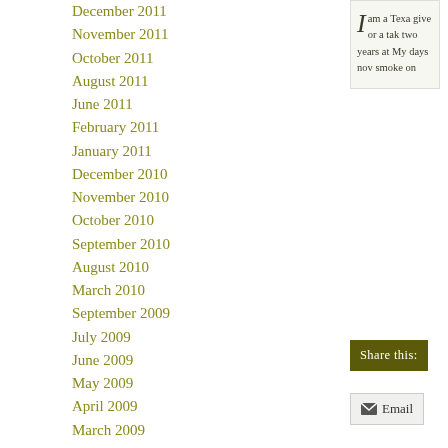December 2011
November 2011
October 2011
August 2011
June 2011
February 2011
January 2011
December 2010
November 2010
October 2010
September 2010
August 2010
March 2010
September 2009
July 2009
June 2009
May 2009
April 2009
March 2009
February 2009
January 2009
December 2008
I am a Texa give or a tak two years at My days nov smoke on
Share this:
Email